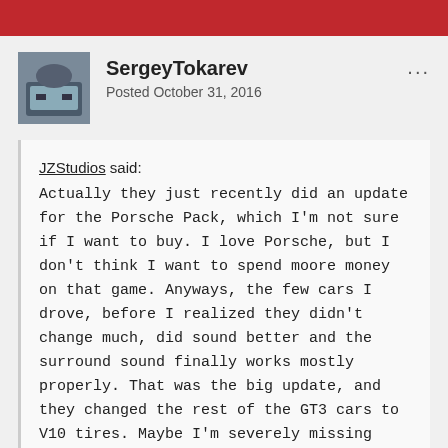SergeyTokarev
Posted October 31, 2016
JZStudios said:
Actually they just recently did an update for the Porsche Pack, which I'm not sure if I want to buy. I love Porsche, but I don't think I want to spend moore money on that game. Anyways, the few cars I drove, before I realized they didn't change much, did sound better and the surround sound finally works mostly properly. That was the big update, and they changed the rest of the GT3 cars to V10 tires. Maybe I'm severely missing something, but why does it take so long to put the new tire model on the cars?
On a slight side note, Kunos being themselves I found it quite ironic that they'd ban people